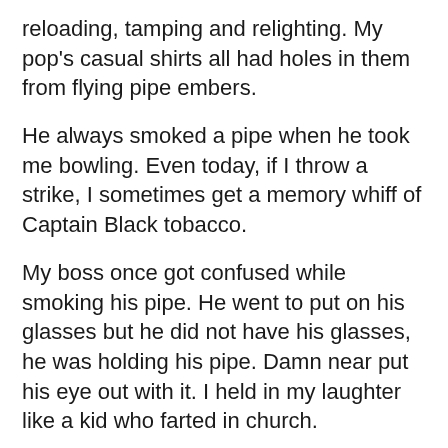reloading, tamping and relighting.  My pop's casual shirts all had holes in them from flying pipe embers.
He always smoked a pipe when he took me bowling.  Even today, if I throw a strike, I sometimes get a memory whiff of Captain Black tobacco.
My boss once got confused while smoking his pipe.  He went to put on his glasses but he did not have his glasses, he was holding his pipe.  Damn near put his eye out with it.  I held in my laughter like a kid who farted in church.
When I worked on Wall Street the traders all smoked cigarettes.  One of them once told me that you could tell when a trader was getting burned out.  If he switched to a pipe